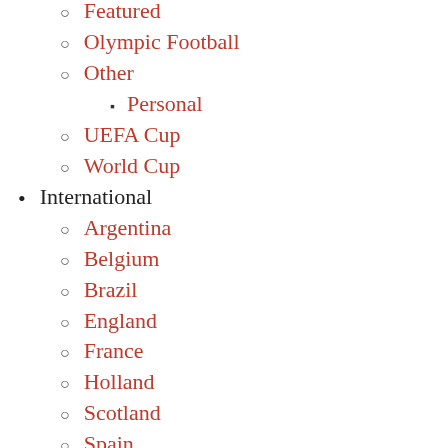Featured
Olympic Football
Other
Personal
UEFA Cup
World Cup
International
Argentina
Belgium
Brazil
England
France
Holland
Scotland
Spain
Uruguay